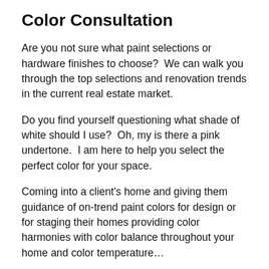Color Consultation
Are you not sure what paint selections or hardware finishes to choose?  We can walk you through the top selections and renovation trends in the current real estate market.
Do you find yourself questioning what shade of white should I use?  Oh, my is there a pink undertone.  I am here to help you select the perfect color for your space.
Coming into a client's home and giving them guidance of on-trend paint colors for design or for staging their homes providing color harmonies with color balance throughout your home and color temperature…